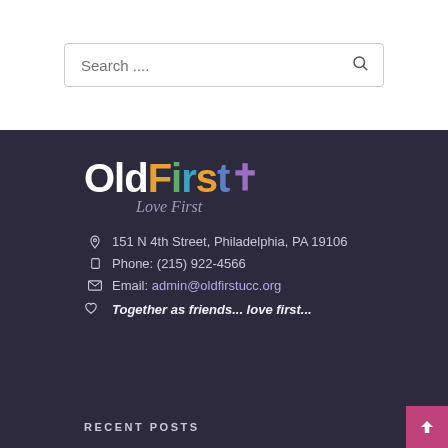[Figure (other): Search bar input field with placeholder text 'Search ....' and a search icon on the right]
[Figure (logo): OldFirst church logo with colorful letters and 'Love First' italic tagline below]
151 N 4th Street, Philadelphia, PA 19106
Phone: (215) 922-4566
Email: admin@oldfirstucc.org
Together as friends... love first...
RECENT POSTS